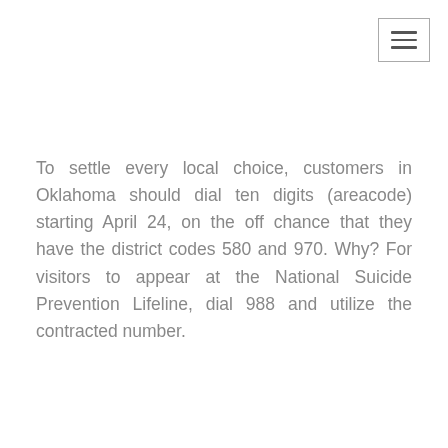[Figure (other): Hamburger menu navigation button (three horizontal lines icon) in top-right corner with border]
To settle every local choice, customers in Oklahoma should dial ten digits (areacode) starting April 24, on the off chance that they have the district codes 580 and 970. Why? For visitors to appear at the National Suicide Prevention Lifeline, dial 988 and utilize the contracted number.